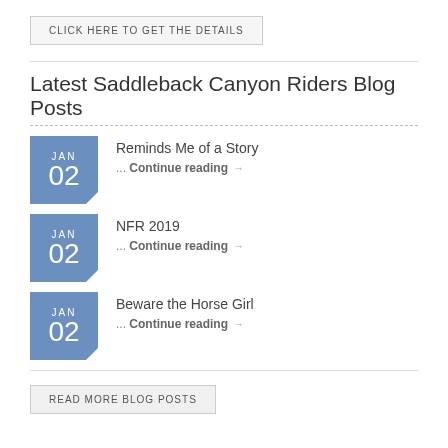CLICK HERE TO GET THE DETAILS
Latest Saddleback Canyon Riders Blog Posts
Reminds Me of a Story ... Continue reading →
NFR 2019 ... Continue reading →
Beware the Horse Girl ... Continue reading →
READ MORE BLOG POSTS